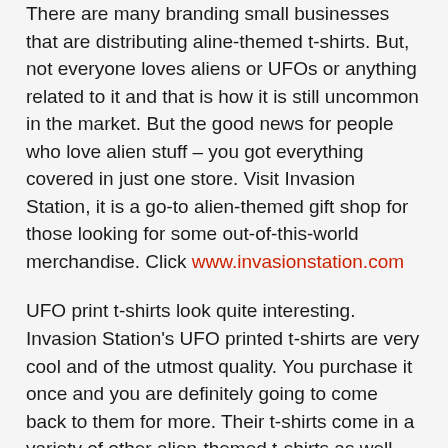There are many branding small businesses that are distributing aline-themed t-shirts. But, not everyone loves aliens or UFOs or anything related to it and that is how it is still uncommon in the market. But the good news for people who love alien stuff – you got everything covered in just one store. Visit Invasion Station, it is a go-to alien-themed gift shop for those looking for some out-of-this-world merchandise. Click www.invasionstation.com
UFO print t-shirts look quite interesting. Invasion Station's UFO printed t-shirts are very cool and of the utmost quality. You purchase it once and you are definitely going to come back to them for more. Their t-shirts come in a variety of other alien-themed t-shirts as well. Also, you can look for such printed hats as well. They have a unique variety that covers a wide range of merchandise. All the apparel is uniquely designed that you wouldn't find anywhere else.
The cool printed t-shirts vary from size to colour. Pick what